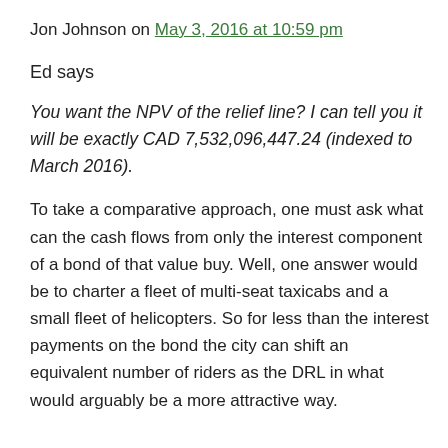Jon Johnson on May 3, 2016 at 10:59 pm
Ed says
You want the NPV of the relief line? I can tell you it will be exactly CAD 7,532,096,447.24 (indexed to March 2016).
To take a comparative approach, one must ask what can the cash flows from only the interest component of a bond of that value buy. Well, one answer would be to charter a fleet of multi-seat taxicabs and a small fleet of helicopters. So for less than the interest payments on the bond the city can shift an equivalent number of riders as the DRL in what would arguably be a more attractive way.